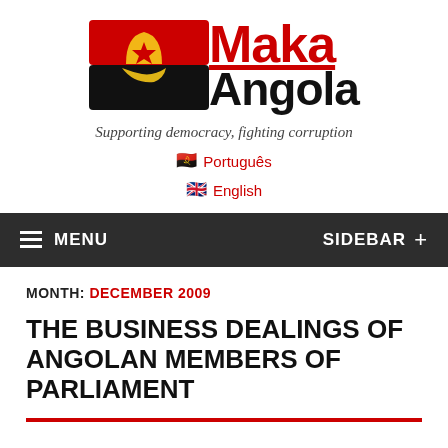[Figure (logo): Maka Angola logo with Angolan flag graphic and text 'Maka Angola' in red and black]
Supporting democracy, fighting corruption
🇦🇴 Português
🇬🇧 English
MENU  SIDEBAR +
MONTH: DECEMBER 2009
THE BUSINESS DEALINGS OF ANGOLAN MEMBERS OF PARLIAMENT